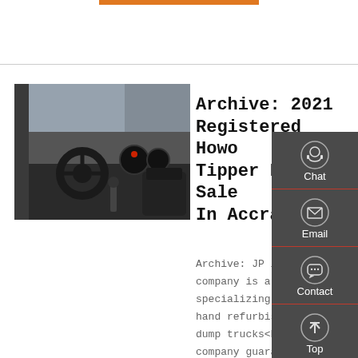[Figure (photo): Interior view of a truck cab showing steering wheel, dashboard, gear shift and seats]
Archive: 2021 Registered Howo Tipper For Sale In Accra
Archive: JP import company is a company specializing in second-hand refurbished Howo dump trucks<br />The company guarantees that every dump truck has...
[Figure (infographic): Side panel with Chat, Email, Contact, and Top navigation buttons on dark grey background]